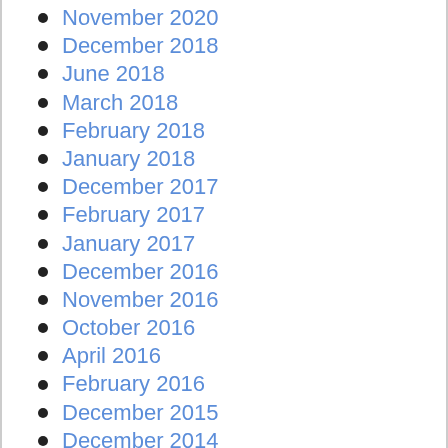November 2020
December 2018
June 2018
March 2018
February 2018
January 2018
December 2017
February 2017
January 2017
December 2016
November 2016
October 2016
April 2016
February 2016
December 2015
December 2014
November 2014
July 2014
June 2014